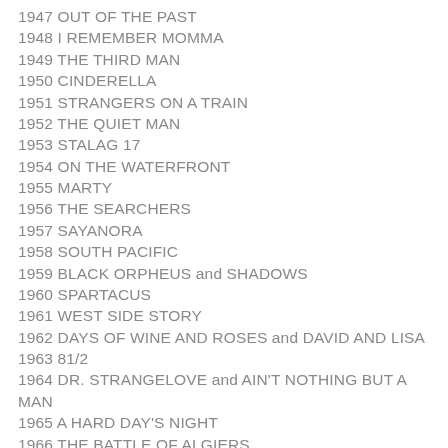1947 OUT OF THE PAST
1948 I REMEMBER MOMMA
1949 THE THIRD MAN
1950 CINDERELLA
1951 STRANGERS ON A TRAIN
1952 THE QUIET MAN
1953 STALAG 17
1954 ON THE WATERFRONT
1955 MARTY
1956 THE SEARCHERS
1957 SAYANORA
1958 SOUTH PACIFIC
1959 BLACK ORPHEUS and SHADOWS
1960 SPARTACUS
1961 WEST SIDE STORY
1962 DAYS OF WINE AND ROSES and DAVID AND LISA
1963 81/2
1964 DR. STRANGELOVE and AIN'T NOTHING BUT A MAN
1965 A HARD DAY'S NIGHT
1966 THE BATTLE OF ALGIERS
1967 MARAT/SADE